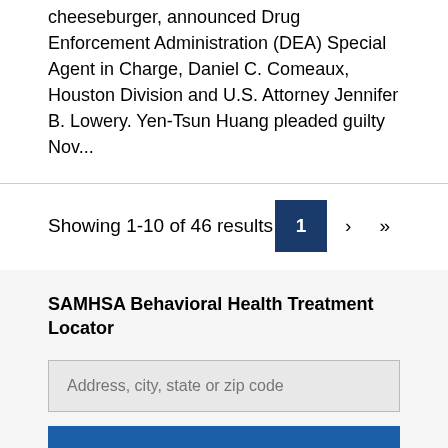cheeseburger, announced Drug Enforcement Administration (DEA) Special Agent in Charge, Daniel C. Comeaux, Houston Division and U.S. Attorney Jennifer B. Lowery. Yen-Tsun Huang pleaded guilty Nov...
Showing 1-10 of 46 results
SAMHSA Behavioral Health Treatment Locator
Address, city, state or zip code
Go